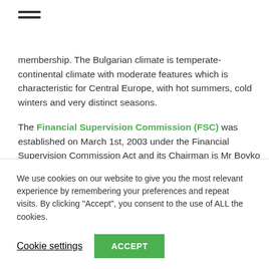[Figure (other): Hamburger menu icon with three horizontal lines]
membership. The Bulgarian climate is temperate-continental climate with moderate features which is characteristic for Central Europe, with hot summers, cold winters and very distinct seasons.
The Financial Supervision Commission (FSC) was established on March 1st, 2003 under the Financial Supervision Commission Act and its Chairman is Mr Boyko Atanasov. FSC it's an
We use cookies on our website to give you the most relevant experience by remembering your preferences and repeat visits. By clicking “Accept”, you consent to the use of ALL the cookies.
Cookie settings
ACCEPT